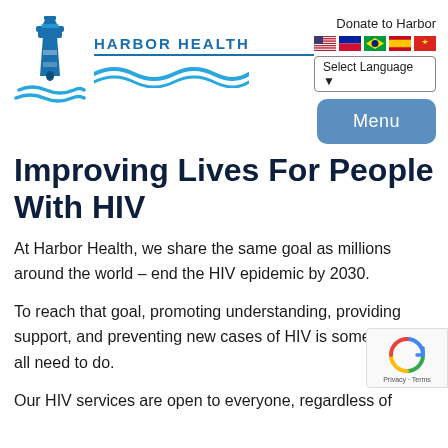[Figure (logo): Harbor Health logo with lighthouse icon and blue wave, text HARBOR HEALTH with underline]
Donate to Harbor
[Figure (other): Row of country flags: USA, Haiti, Brazil, Spain, Vietnam]
Select Language ▾
Menu
Improving Lives For People With HIV
At Harbor Health, we share the same goal as millions around the world – end the HIV epidemic by 2030.
To reach that goal, promoting understanding, providing support, and preventing new cases of HIV is something we all need to do.
Our HIV services are open to everyone, regardless of